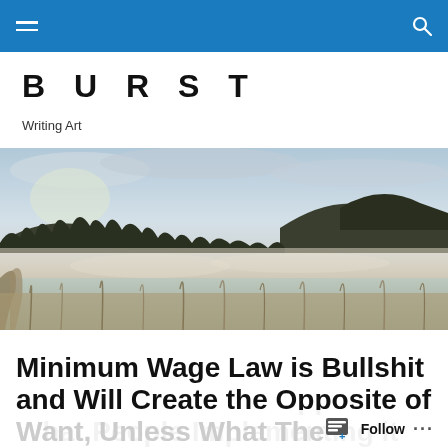BURST — Writing Art (nav bar with hamburger and search)
BURST
Writing Art
[Figure (photo): Misty landscape with a lake, tall grasses, pine trees, and hills in the background under a cloudy sky at dawn or dusk.]
Minimum Wage Law is Bullshit and Will Create the Opposite of What People Implementing it Want, Unless What The...
Follow ...